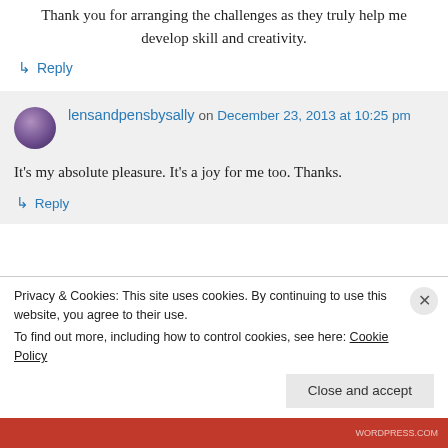Thank you for arranging the challenges as they truly help me develop skill and creativity.
↳ Reply
lensandpensbysally on December 23, 2013 at 10:25 pm
It's my absolute pleasure. It's a joy for me too. Thanks.
↳ Reply
Privacy & Cookies: This site uses cookies. By continuing to use this website, you agree to their use.
To find out more, including how to control cookies, see here: Cookie Policy
Close and accept